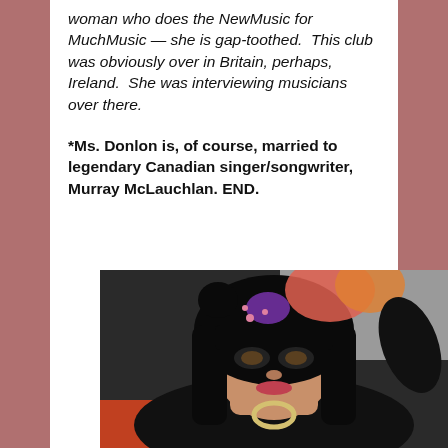woman who does the NewMusic for MuchMusic — she is gap-toothed.  This club was obviously over in Britain, perhaps, Ireland.  She was interviewing musicians over there.
*Ms. Donlon is, of course, married to legendary Canadian singer/songwriter, Murray McLauchlan. END.
[Figure (photo): Close-up photo of a woman with heavy dark eye makeup, black hair with bangs, wearing colorful floral hair accessories (pink, orange, purple flowers), dressed in black, with a large ring/buckle accessory at her neck.]